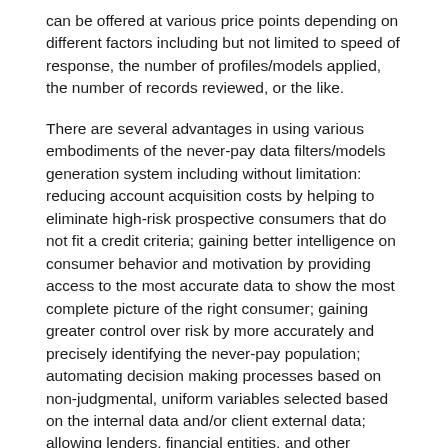can be offered at various price points depending on different factors including but not limited to speed of response, the number of profiles/models applied, the number of records reviewed, or the like.
There are several advantages in using various embodiments of the never-pay data filters/models generation system including without limitation: reducing account acquisition costs by helping to eliminate high-risk prospective consumers that do not fit a credit criteria; gaining better intelligence on consumer behavior and motivation by providing access to the most accurate data to show the most complete picture of the right consumer; gaining greater control over risk by more accurately and precisely identifying the never-pay population; automating decision making processes based on non-judgmental, uniform variables selected based on the internal data and/or client external data; allowing lenders, financial entities, and other entities to better discriminate traditional credit risk more finely to address and meet financial reporting and risk management regulatory requirements; or the like.